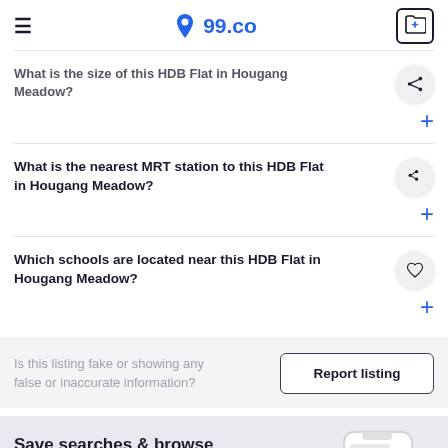99.co
What is the size of this HDB Flat in Hougang Meadow?
What is the nearest MRT station to this HDB Flat in Hougang Meadow?
Which schools are located near this HDB Flat in Hougang Meadow?
Is this listing fake or showing any false or inaccurate information?
Report listing
Save searches & browse faster on the app
[Figure (screenshot): App Store download button and phone mockup showing 99.co app with 'Your Way Home' banner]